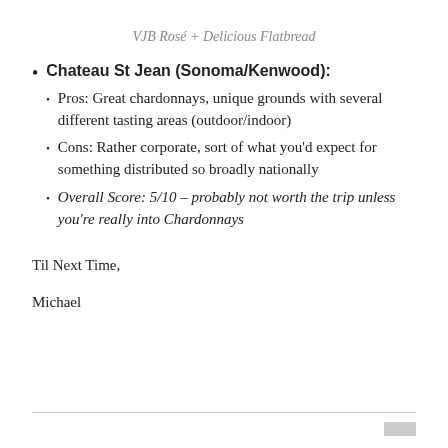VJB Rosé + Delicious Flatbread
Chateau St Jean (Sonoma/Kenwood):
Pros: Great chardonnays, unique grounds with several different tasting areas (outdoor/indoor)
Cons: Rather corporate, sort of what you'd expect for something distributed so broadly nationally
Overall Score: 5/10 – probably not worth the trip unless you're really into Chardonnays
Til Next Time,
Michael